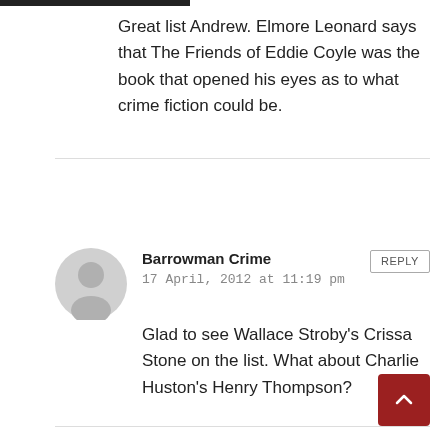Great list Andrew. Elmore Leonard says that The Friends of Eddie Coyle was the book that opened his eyes as to what crime fiction could be.
Barrowman Crime
17 April, 2012 at 11:19 pm
Glad to see Wallace Stroby's Crissa Stone on the list. What about Charlie Huston's Henry Thompson?